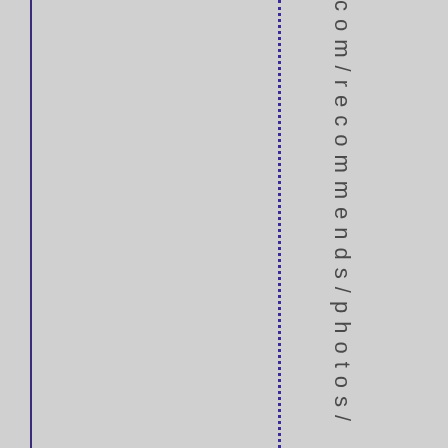com/recommends/photos/ I would a